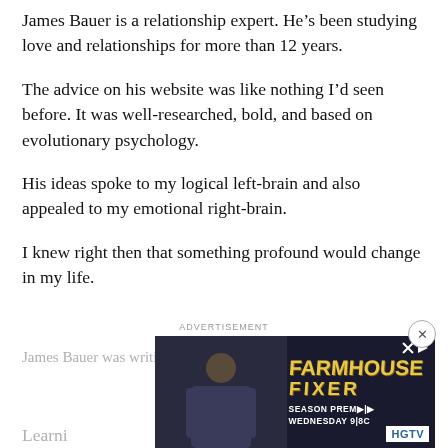James Bauer is a relationship expert. He’s been studying love and relationships for more than 12 years.
The advice on his website was like nothing I’d seen before. It was well-researched, bold, and based on evolutionary psychology.
His ideas spoke to my logical left-brain and also appealed to my emotional right-brain.
I knew right then that something profound would change in my life.
James Bauer was writing about the hero instinct.
Learni
[Figure (screenshot): HGTV Farmhouse Fixer advertisement banner with Season Premiere Wednesday 9|8C text and HGTV logo]
ADVERTISEMENT